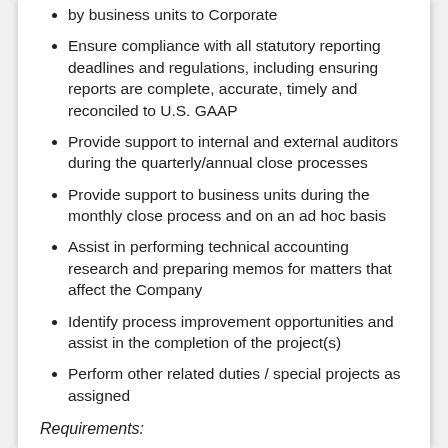by business units to Corporate
Ensure compliance with all statutory reporting deadlines and regulations, including ensuring reports are complete, accurate, timely and reconciled to U.S. GAAP
Provide support to internal and external auditors during the quarterly/annual close processes
Provide support to business units during the monthly close process and on an ad hoc basis
Assist in performing technical accounting research and preparing memos for matters that affect the Company
Identify process improvement opportunities and assist in the completion of the project(s)
Perform other related duties / special projects as assigned
Requirements:
Bachelor's degree in Accounting
CPA or CPA candidate preferred
2-3 years of public accounting/audit